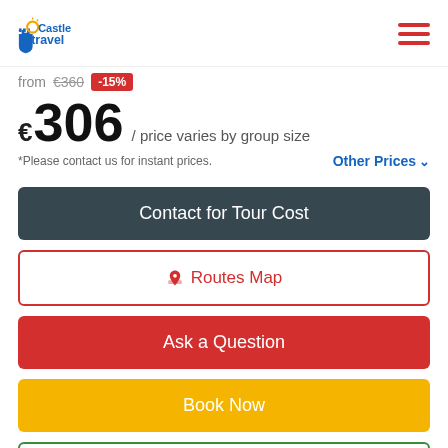Castle Travel logo and navigation menu
from €360 -15%
€306 / price varies by group size
*Please contact us for instant prices.   Other Prices
Contact for Tour Cost
Routes Map
Ask a Question
Book Now
Customize Your Tour!